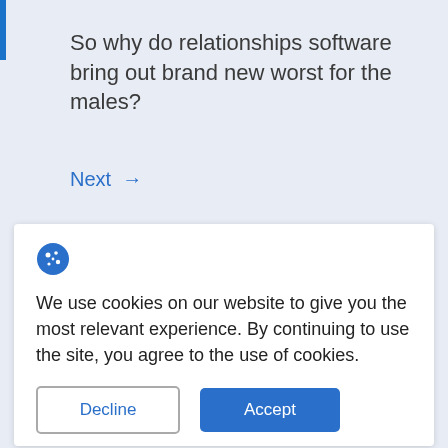So why do relationships software bring out brand new worst for the males?
Next →
We use cookies on our website to give you the most relevant experience. By continuing to use the site, you agree to the use of cookies.